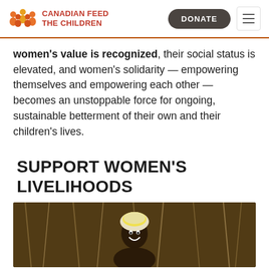CANADIAN FEED THE CHILDREN | DONATE
women's value is recognized, their social status is elevated, and women's solidarity — empowering themselves and empowering each other — becomes an unstoppable force for ongoing, sustainable betterment of their own and their children's lives.
SUPPORT WOMEN'S LIVELIHOODS
[Figure (photo): A smiling woman wearing a white and yellow headwrap, pictured outdoors surrounded by dried grass or crops.]